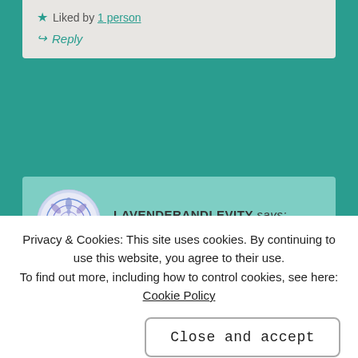★ Liked by 1 person
↪ Reply
LAVENDERANDLEVITY says: SEP 14, 2019 AT 15:29
Hugs. There are actually a couple of guided meditations on
Privacy & Cookies: This site uses cookies. By continuing to use this website, you agree to their use.
To find out more, including how to control cookies, see here: Cookie Policy
Close and accept